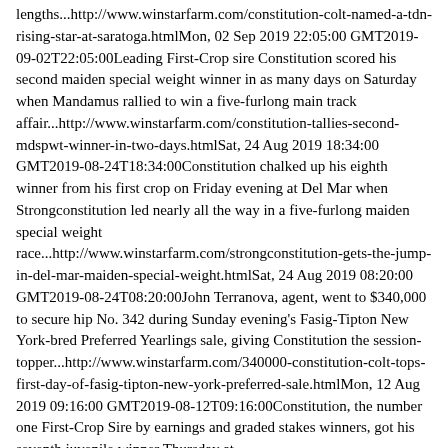lengths...http://www.winstarfarm.com/constitution-colt-named-a-tdn-rising-star-at-saratoga.htmlMon, 02 Sep 2019 22:05:00 GMT2019-09-02T22:05:00Leading First-Crop sire Constitution scored his second maiden special weight winner in as many days on Saturday when Mandamus rallied to win a five-furlong main track affair...http://www.winstarfarm.com/constitution-tallies-second-mdspwt-winner-in-two-days.htmlSat, 24 Aug 2019 18:34:00 GMT2019-08-24T18:34:00Constitution chalked up his eighth winner from his first crop on Friday evening at Del Mar when Strongconstitution led nearly all the way in a five-furlong maiden special weight race...http://www.winstarfarm.com/strongconstitution-gets-the-jump-in-del-mar-maiden-special-weight.htmlSat, 24 Aug 2019 08:20:00 GMT2019-08-24T08:20:00John Terranova, agent, went to $340,000 to secure hip No. 342 during Sunday evening's Fasig-Tipton New York-bred Preferred Yearlings sale, giving Constitution the session-topper...http://www.winstarfarm.com/340000-constitution-colt-tops-first-day-of-fasig-tipton-new-york-preferred-sale.htmlMon, 12 Aug 2019 09:16:00 GMT2019-08-12T09:16:00Constitution, the number one First-Crop Sire by earnings and graded stakes winners, got his seventh juvenile winner Thursday at Saratoga...http://www.winstarfarm.com/constitution-colt-rolls-in-saratoga-maiden-special-weight-debut.htmlThu, 08 Aug 2019 16:22:00 GMT2019-08-08T16:22:00Amalfi Sunrise, a TDN Rising Star after her six-length debut win on June 22, tallied